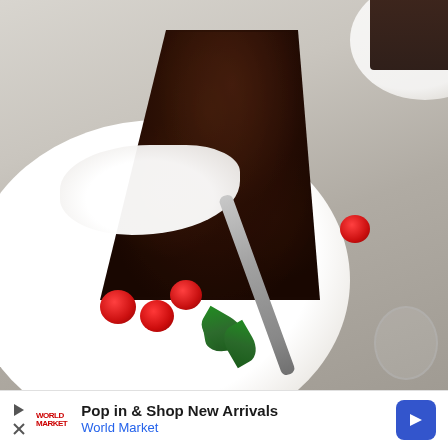[Figure (photo): A slice of dark chocolate bundt cake on a white plate, topped with white cream/frosting drizzle, garnished with fresh red raspberries and mint leaves, with a silver fork on the plate. Another plate with cake visible in the top right background. Marble/stone surface.]
Pop in & Shop New Arrivals
World Market